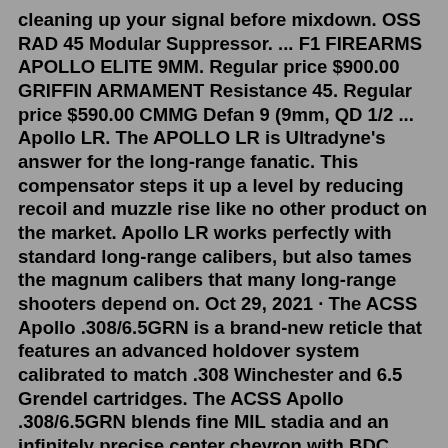cleaning up your signal before mixdown. OSS RAD 45 Modular Suppressor. ... F1 FIREARMS APOLLO ELITE 9MM. Regular price $900.00 GRIFFIN ARMAMENT Resistance 45. Regular price $590.00 CMMG Defan 9 (9mm, QD 1/2 ... Apollo LR. The APOLLO LR is Ultradyne's answer for the long-range fanatic. This compensator steps it up a level by reducing recoil and muzzle rise like no other product on the market. Apollo LR works perfectly with standard long-range calibers, but also tames the magnum calibers that many long-range shooters depend on. Oct 29, 2021 · The ACSS Apollo .308/6.5GRN is a brand-new reticle that features an advanced holdover system calibrated to match .308 Winchester and 6.5 Grendel cartridges. The ACSS Apollo .308/6.5GRN blends fine MIL stadia and an infinitely precise center chevron with BDC holdovers from 300 to 1000 yards. These holdovers include wind corrections for 5, 10, 15 ... 4 Wires Ignition Switch Key with Cap+3 Function Left Starter Switch Assembly for 50cc 70cc 90cc 110cc 125cc 150cc